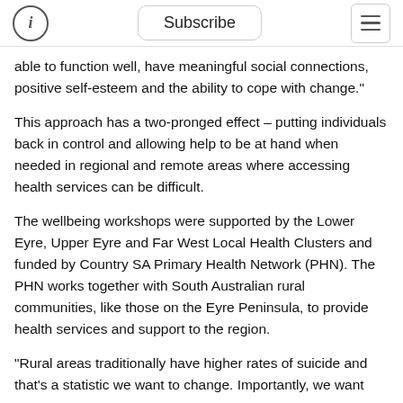Subscribe
able to function well, have meaningful social connections, positive self-esteem and the ability to cope with change."
This approach has a two-pronged effect – putting individuals back in control and allowing help to be at hand when needed in regional and remote areas where accessing health services can be difficult.
The wellbeing workshops were supported by the Lower Eyre, Upper Eyre and Far West Local Health Clusters and funded by Country SA Primary Health Network (PHN). The PHN works together with South Australian rural communities, like those on the Eyre Peninsula, to provide health services and support to the region.
“Rural areas traditionally have higher rates of suicide and that’s a statistic we want to change. Importantly, we want